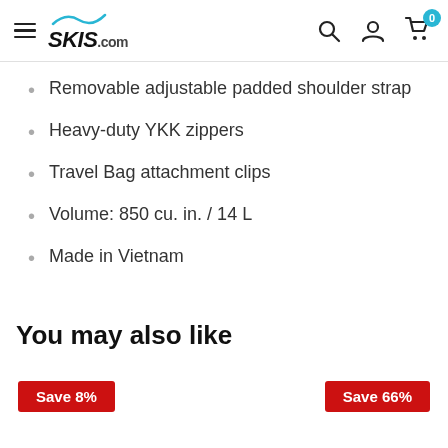SKIS.com — navigation header with hamburger menu, search, account, and cart icons
Removable adjustable padded shoulder strap
Heavy-duty YKK zippers
Travel Bag attachment clips
Volume: 850 cu. in. / 14 L
Made in Vietnam
You may also like
Save 8%
Save 66%